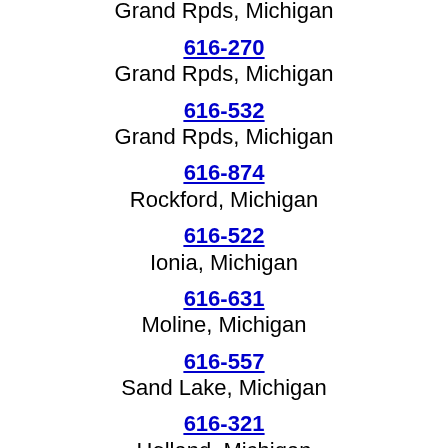616-720
Grand Rpds, Michigan
616-270
Grand Rpds, Michigan
616-532
Grand Rpds, Michigan
616-874
Rockford, Michigan
616-522
Ionia, Michigan
616-631
Moline, Michigan
616-557
Sand Lake, Michigan
616-321
Holland, Michigan
616-696
Cedar Spg, Michigan